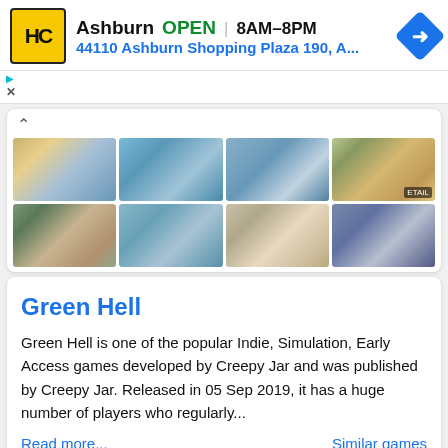[Figure (screenshot): Advertisement banner for HC (Hardee's/similar) store in Ashburn showing logo, open hours, and address]
Ashburn  OPEN  8AM–8PM
44110 Ashburn Shopping Plaza 190, A...
[Figure (screenshot): Grid of 8 game screenshots showing aerial/landscape views of Tropico 6 or similar city-builder game]
Green Hell
Green Hell is one of the popular Indie, Simulation, Early Access games developed by Creepy Jar and was published by Creepy Jar. Released in 05 Sep 2019, it has a huge number of players who regularly...
Read more...
Similar games